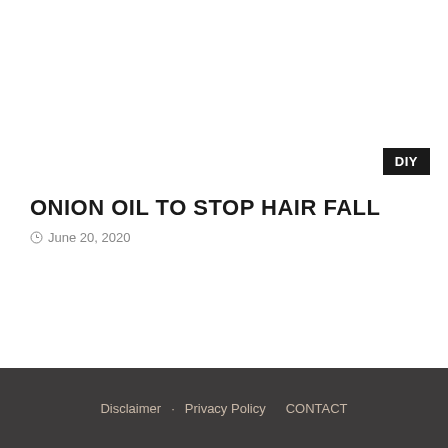DIY
ONION OIL TO STOP HAIR FALL
June 20, 2020
Disclaimer · Privacy Policy · CONTACT